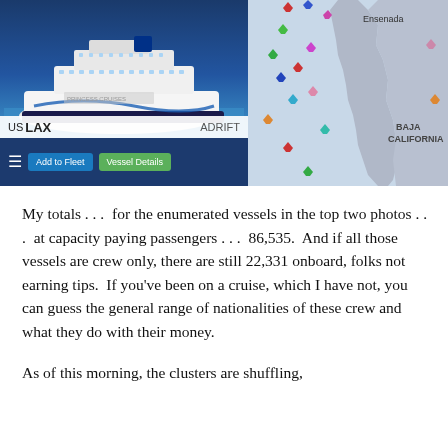[Figure (screenshot): Left half: screenshot of a cruise ship tracking app showing a large cruise ship (Princess Cruises) at sea with blue water and sky, with UI elements including a hamburger menu icon, 'Add to Fleet' blue button, 'Vessel Details' green button, and a label bar showing 'US LAX' on the left and 'ADRIFT' on the right. Right half: map screenshot showing the Baja California coastline with Ensenada labeled, and multiple colored ship icons scattered in the Pacific Ocean off the coast.]
My totals . . .  for the enumerated vessels in the top two photos . . .  at capacity paying passengers . . .  86,535.  And if all those vessels are crew only, there are still 22,331 onboard, folks not earning tips.  If you've been on a cruise, which I have not, you can guess the general range of nationalities of these crew and what they do with their money.
As of this morning, the clusters are shuffling,